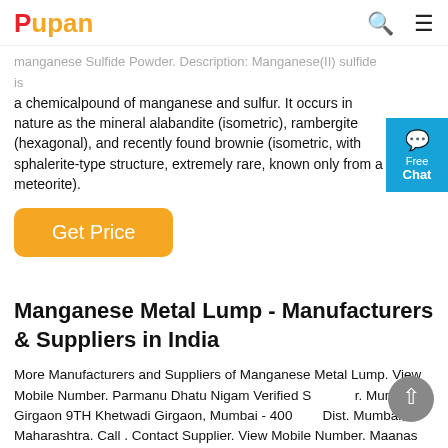Pupan
manganese Sulfide Powder. Description: Manganese(II) sulfide is a chemicalpound of manganese and sulfur. It occurs in nature as the mineral alabandite (isometric), rambergite (hexagonal), and recently found brownie (isometric, with sphalerite-type structure, extremely rare, known only from a meteorite).
[Figure (other): Orange Get Price button]
Manganese Metal Lump - Manufacturers & Suppliers in India
More Manufacturers and Suppliers of Manganese Metal Lump. View Mobile Number. Parmanu Dhatu Nigam Verified Supplier. Mumbai. Girgaon 9TH Khetwadi Girgaon, Mumbai - 400004, Dist. Mumbai, Maharashtra. Call . Contact Supplier. View Mobile Number. Maanas Mineral Research & Development India Private...